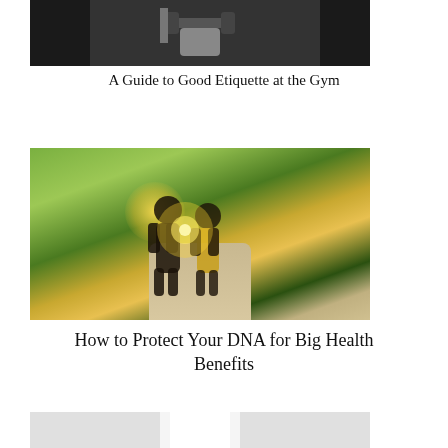[Figure (photo): Person lifting dumbbells in a gym, upper body cropped]
A Guide to Good Etiquette at the Gym
[Figure (photo): Two people walking on a rural road at sunset with bright sun flare behind them, green fields on either side]
How to Protect Your DNA for Big Health Benefits
[Figure (photo): Person in white top, partially visible, bottom portion of page]